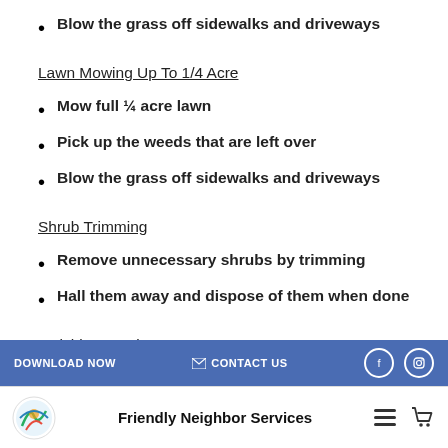Blow the grass off sidewalks and driveways
Lawn Mowing Up To 1/4 Acre
Mow full ¼ acre lawn
Pick up the weeds that are left over
Blow the grass off sidewalks and driveways
Shrub Trimming
Remove unnecessary shrubs by trimming
Hall them away and dispose of them when done
Mulching Service
DOWNLOAD NOW   CONTACT US   Friendly Neighbor Services